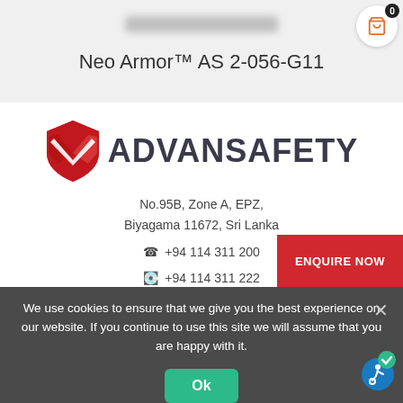Neo Armor™ AS 2-056-G11
[Figure (logo): Advansafety logo with red shield and brand name ADVANSAFETY]
No.95B, Zone A, EPZ,
Biyagama 11672, Sri Lanka
☎ +94 114 311 200
📠 +94 114 311 222
✉ sales@advansafety.online
ENQUIRE NOW
We use cookies to ensure that we give you the best experience on our website. If you continue to use this site we will assume that you are happy with it.
Ok